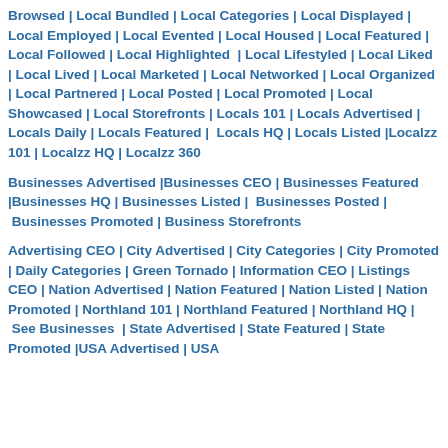Browsed | Local Bundled | Local Categories | Local Displayed | Local Employed | Local Evented | Local Housed | Local Featured | Local Followed | Local Highlighted | Local Lifestyled | Local Liked | Local Lived | Local Marketed | Local Networked | Local Organized | Local Partnered | Local Posted | Local Promoted | Local Showcased | Local Storefronts | Locals 101 | Locals Advertised | Locals Daily | Locals Featured | Locals HQ | Locals Listed |Localzz 101 | Localzz HQ | Localzz 360
Businesses Advertised |Businesses CEO | Businesses Featured |Businesses HQ | Businesses Listed | Businesses Posted | Businesses Promoted | Business Storefronts
Advertising CEO | City Advertised | City Categories | City Promoted | Daily Categories | Green Tornado | Information CEO | Listings CEO | Nation Advertised | Nation Featured | Nation Listed | Nation Promoted | Northland 101 | Northland Featured | Northland HQ | See Businesses | State Advertised | State Featured | State Promoted |USA Advertised | USA